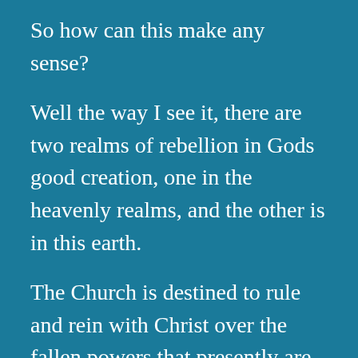So how can this make any sense?
Well the way I see it, there are two realms of rebellion in Gods good creation, one in the heavenly realms, and the other is in this earth.
The Church is destined to rule and rein with Christ over the fallen powers that presently are in a state of hostile rebellion. This is the destiny of the Church, to rule this universe through